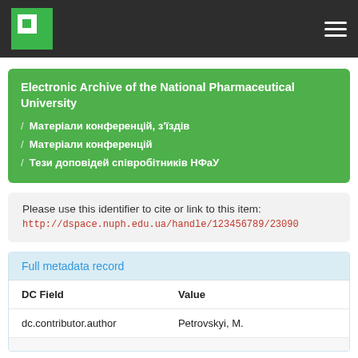Electronic Archive of the National Pharmaceutical University
Electronic Archive of the National Pharmaceutical University / Матеріали конференцій, з'їздів / Матеріали конференцій / Тези доповідей співробітників НФаУ
Please use this identifier to cite or link to this item: http://dspace.nuph.edu.ua/handle/123456789/23090
| DC Field | Value |
| --- | --- |
| dc.contributor.author | Petrovskyi, M. |